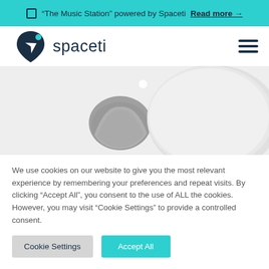"The Music Station" powered by Spaceti  Read more →
[Figure (logo): Spaceti logo with dark navy shield shape containing white arrow/rocket and teal dot, beside text 'spaceti']
[Figure (photo): Product photo showing two Spaceti sensor devices: a small dark grey rounded triangular sensor and a large white rounded disc-shaped sensor on a light background]
We use cookies on our website to give you the most relevant experience by remembering your preferences and repeat visits. By clicking "Accept All", you consent to the use of ALL the cookies. However, you may visit "Cookie Settings" to provide a controlled consent.
Cookie Settings  Accept All